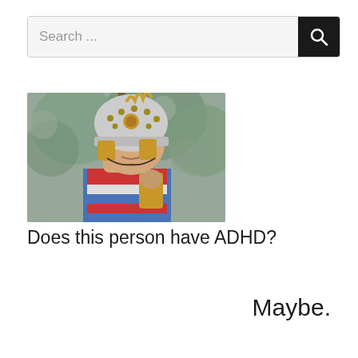[Figure (screenshot): Search bar with text 'Search ...' and a dark search button with magnifying glass icon]
[Figure (photo): A middle-aged man dressed in a Roman soldier costume wearing a silver/white helmet with studs, colorful striped clothing, holding a wooden spear/staff, with blurred green trees in background]
Does this person have ADHD?
Maybe.